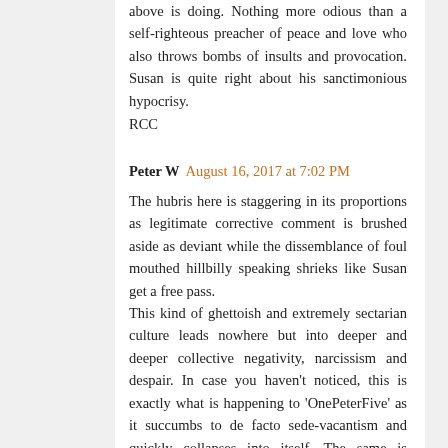above is doing. Nothing more odious than a self-righteous preacher of peace and love who also throws bombs of insults and provocation. Susan is quite right about his sanctimonious hypocrisy. RCC
Peter W  August 16, 2017 at 7:02 PM
The hubris here is staggering in its proportions as legitimate corrective comment is brushed aside as deviant while the dissemblance of foul mouthed hillbilly speaking shrieks like Susan get a free pass. This kind of ghettoish and extremely sectarian culture leads nowhere but into deeper and deeper collective negativity, narcissism and despair. In case you haven't noticed, this is exactly what is happening to 'OnePeterFive' as it succumbs to de facto sede-vacantism and quickly collapses into itself. The same is happening to blogs like Ray Blake; Zuhlsdorf's charade is imploding under the weight of its own